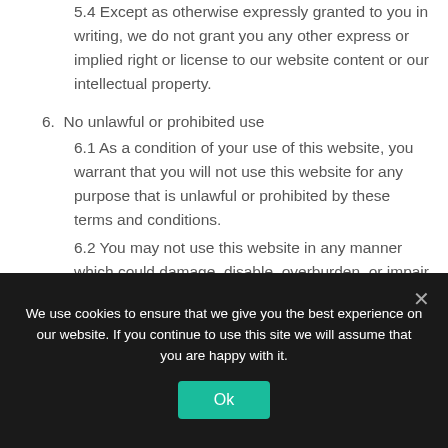5.4 Except as otherwise expressly granted to you in writing, we do not grant you any other express or implied right or license to our website content or our intellectual property.
6. No unlawful or prohibited use
6.1 As a condition of your use of this website, you warrant that you will not use this website for any purpose that is unlawful or prohibited by these terms and conditions.
6.2 You may not use this website in any manner which could damage, disable, overburden, or impair this website or interfere
We use cookies to ensure that we give you the best experience on our website. If you continue to use this site we will assume that you are happy with it.